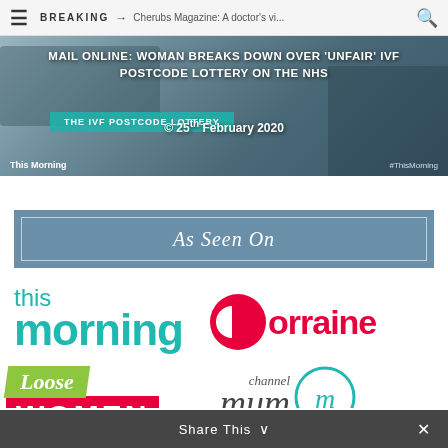BREAKING → Cherubs Magazine: A doctor's vi...
[Figure (screenshot): News video thumbnail showing a TV still with text overlay: 'MAIL ONLINE: WOMAN BREAKS DOWN OVER UNFAIR IVF POSTCODE LOTTERY ON THE NHS' and a teal banner 'THE IVF POSTCODE LOTTERY' with date '© 25th February 2020' and 'This Morning' branding and hashtag]
As Seen On
[Figure (logo): this morning logo in teal]
[Figure (logo): Lorraine logo in red with circular L graphic]
[Figure (logo): Loose Women logo with green italic Loose on red WOMEN background]
[Figure (logo): channel Mum logo with teal circle containing cursive m]
Share This ∨  ×